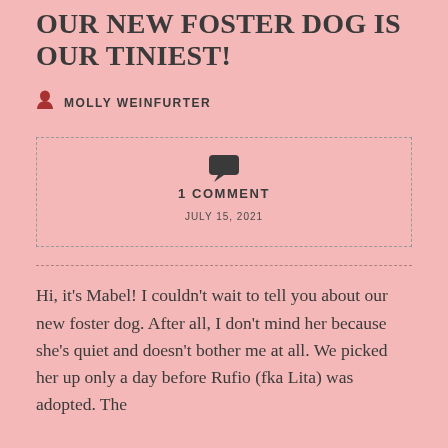OUR NEW FOSTER DOG IS OUR TINIEST!
MOLLY WEINFURTER
1 COMMENT
JULY 15, 2021
Hi, it’s Mabel! I couldn’t wait to tell you about our new foster dog. After all, I don’t mind her because she’s quiet and doesn’t bother me at all. We picked her up only a day before Rufio (fka Lita) was adopted. The foster duration and Butt...